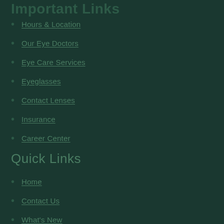Important Links
Hours & Location
Our Eye Doctors
Eye Care Services
Eyeglasses
Contact Lenses
Insurance
Career Center
Quick Links
Home
Contact Us
What's New
Disclaimer